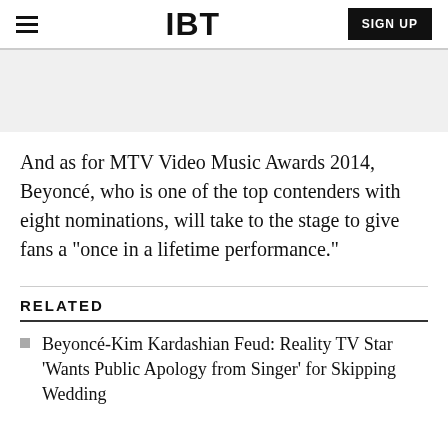IBT | SIGN UP
And as for MTV Video Music Awards 2014, Beyoncé, who is one of the top contenders with eight nominations, will take to the stage to give fans a "once in a lifetime performance."
RELATED
Beyoncé-Kim Kardashian Feud: Reality TV Star 'Wants Public Apology from Singer' for Skipping Wedding